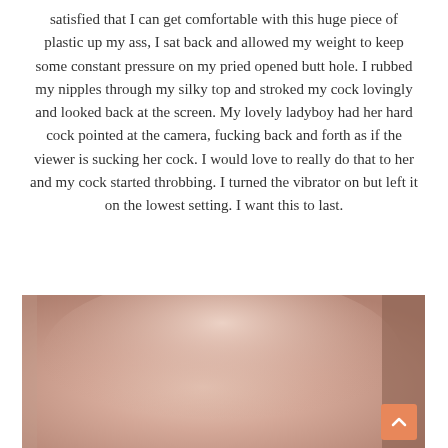satisfied that I can get comfortable with this huge piece of plastic up my ass, I sat back and allowed my weight to keep some constant pressure on my pried opened butt hole. I rubbed my nipples through my silky top and stroked my cock lovingly and looked back at the screen. My lovely ladyboy had her hard cock pointed at the camera, fucking back and forth as if the viewer is sucking her cock. I would love to really do that to her and my cock started throbbing. I turned the vibrator on but left it on the lowest setting. I want this to last.
[Figure (photo): Close-up photo showing skin tones in warm pinkish-brown hues, partially cropped]